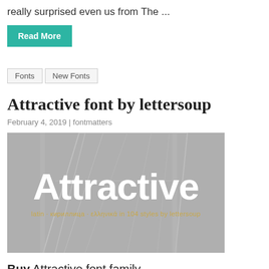really surprised even us from The ...
Read More
Fonts | New Fonts
Attractive font by lettersoup
February 4, 2019 | fontmatters
[Figure (photo): Dark banner image with large white bold text 'Attractive' and subtitle 'latin · кириллица · ελληνικά in 104 styles by lettersoup' in golden/yellow color, with crane silhouette background.]
Buy Attractive font family
Attractive type system comes in 104 styles and 4 widths with extended coverage of the Latin, Greek and